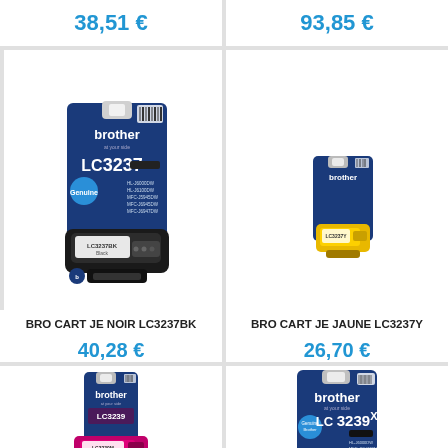38,51 €
93,85 €
[Figure (photo): Brother LC3237BK black ink cartridge package]
[Figure (photo): Brother LC3237Y yellow ink cartridge small package]
BRO CART JE NOIR LC3237BK
40,28 €
BRO CART JE JAUNE LC3237Y
26,70 €
[Figure (photo): Brother magenta ink cartridge package (partial, bottom row)]
[Figure (photo): Brother LC3239XL black ink cartridge package (partial, bottom row)]